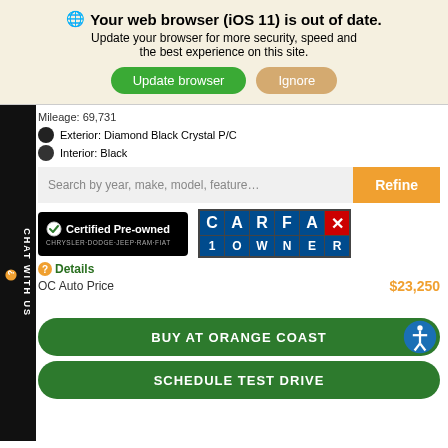🌐 Your web browser (iOS 11) is out of date. Update your browser for more security, speed and the best experience on this site.
[Figure (screenshot): Browser update warning banner with Update browser (green) and Ignore (tan) buttons]
Mileage: 69,731
Exterior: Diamond Black Crystal P/C
Interior: Black
[Figure (screenshot): Search bar with text 'Search by year, make, model, feature…' and orange Refine button]
[Figure (logo): Chrysler Dodge Jeep Ram Fiat Certified Pre-owned badge and CARFAX 1 Owner badge]
❷Details
OC Auto Price
$23,250
BUY AT ORANGE COAST
SCHEDULE TEST DRIVE